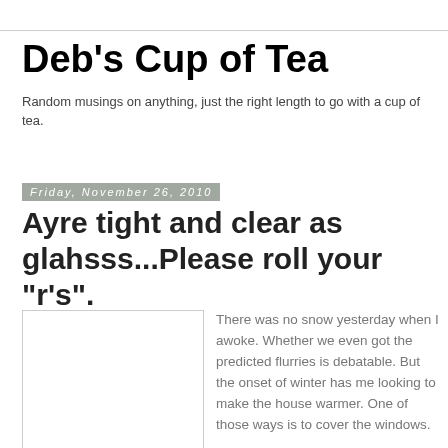Deb's Cup of Tea
Random musings on anything, just the right length to go with a cup of tea.
Friday, November 26, 2010
Ayre tight and clear as glahsss...Please roll your "r's".
[Figure (photo): White/light gray rectangular image placeholder]
There was no snow yesterday when I awoke. Whether we even got the predicted flurries is debatable. But the onset of winter has me looking to make the house warmer. One of those ways is to cover the windows.